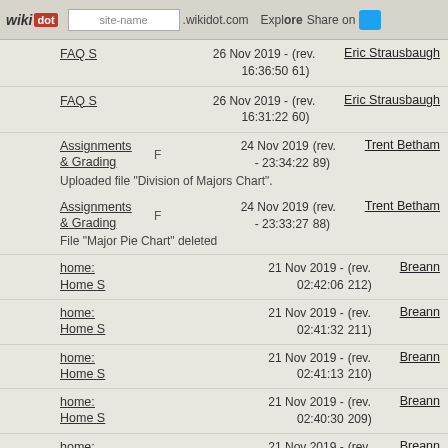wikidot | site-name .wikidot.com | Explore | Share on Twitter
FAQ S  26 Nov 2019 - 16:36:50  (rev. 61)  Eric Strausbaugh
FAQ S  26 Nov 2019 - 16:31:22  (rev. 60)  Eric Strausbaugh
Assignments & Grading F  24 Nov 2019 - 23:34:22  (rev. 89)  Trent Betham
Uploaded file "Division of Majors Chart".
Assignments & Grading F  24 Nov 2019 - 23:33:27  (rev. 88)  Trent Betham
File "Major Pie Chart" deleted
home: Home S  21 Nov 2019 - 02:42:06  (rev. 212)  Breann
home: Home S  21 Nov 2019 - 02:41:32  (rev. 211)  Breann
home: Home S  21 Nov 2019 - 02:41:13  (rev. 210)  Breann
home: Home S  21 Nov 2019 - 02:40:30  (rev. 209)  Breann
home: Home S  21 Nov 2019 - 02:40:17  (rev. 208)  Breann
home: Home S  21 Nov 2019 - 02:39:59  (rev. 207)  Breann